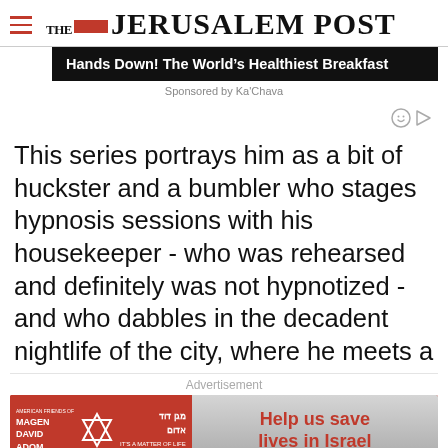THE JERUSALEM POST
[Figure (screenshot): Advertisement banner: 'Hands Down! The World's Healthiest Breakfast' sponsored by Ka'Chava]
Sponsored by Ka'Chava
This series portrays him as a bit of huckster and a bumbler who stages hypnosis sessions with his housekeeper - who was rehearsed and definitely was not hypnotized - and who dabbles in the decadent nightlife of the city, where he meets a
Advertisement
[Figure (screenshot): Advertisement for American Friends of Magen David Adom: 'Help us save lives in Israel']